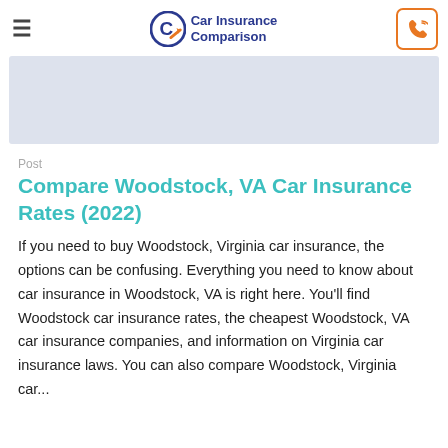Car Insurance Comparison
[Figure (illustration): Light blue-grey placeholder banner image]
Post
Compare Woodstock, VA Car Insurance Rates (2022)
If you need to buy Woodstock, Virginia car insurance, the options can be confusing. Everything you need to know about car insurance in Woodstock, VA is right here. You'll find Woodstock car insurance rates, the cheapest Woodstock, VA car insurance companies, and information on Virginia car insurance laws. You can also compare Woodstock, Virginia car...